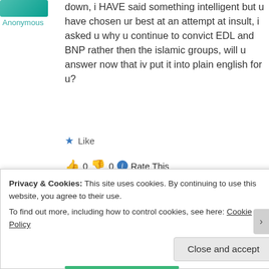[Figure (photo): Teal/cyan colored avatar image placeholder]
Anonymous
down, i HAVE said something intelligent but u have chosen ur best at an attempt at insult, i asked u why u continue to convict EDL and BNP rather then the islamic groups, will u answer now that iv put it into plain english for u?
★ Like
👍 0 👎 0 ℹ Rate This
↪ Reply
[Figure (photo): Brown/tan colored avatar image for second commenter]
2 Jun 2013 at 1:01 am
Privacy & Cookies: This site uses cookies. By continuing to use this website, you agree to their use.
To find out more, including how to control cookies, see here: Cookie Policy
Close and accept